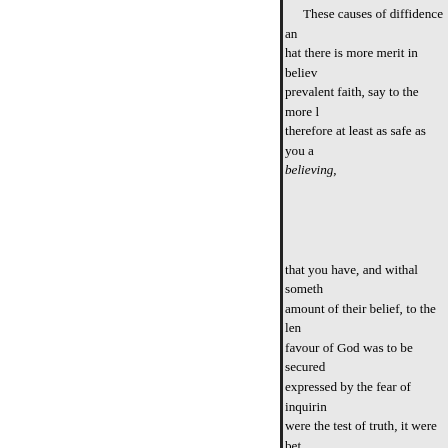These causes of diffidence and that there is more merit in believ prevalent faith, say to the more l therefore at least as safe as you a believing,
that you have, and withal someth amount of their belief, to the len favour of God was to be secured expressed by the fear of inquirin were the test of truth, it were bet ourselves at once to the company
On the whole, I trust that the rem christians, are ow
a ing, not to our principles, but t by others for their charity, that th
The moral dealings of God with recognized the danger attending Witness the successive dispensat whether the mind of Abraham, w and pure as it is. And when at la